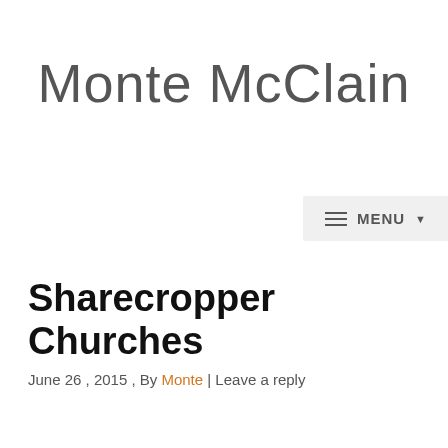Monte McClain
MENU
Sharecropper Churches
June 26, 2015, By Monte | Leave a reply